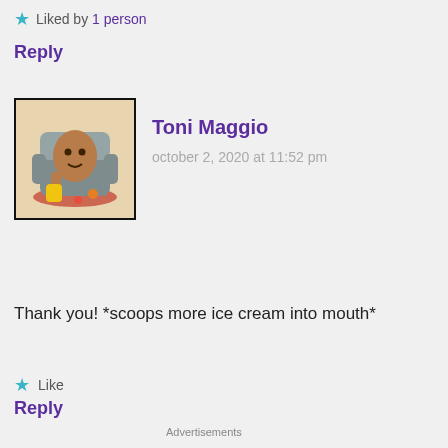Liked by 1 person
Reply
Toni Maggio
october 2, 2020 at 11:52 pm
Thank you! *scoops more ice cream into mouth*
Like
Reply
Advertisements
The go-to app for podcast lovers. Pocket Casts